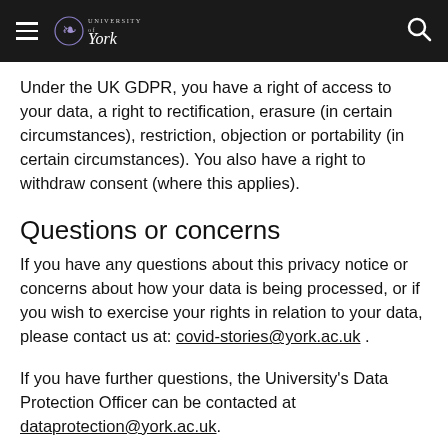[Figure (screenshot): University of York navigation bar with hamburger menu, logo, and search icon on dark background]
Under the UK GDPR, you have a right of access to your data, a right to rectification, erasure (in certain circumstances), restriction, objection or portability (in certain circumstances). You also have a right to withdraw consent (where this applies).
Questions or concerns
If you have any questions about this privacy notice or concerns about how your data is being processed, or if you wish to exercise your rights in relation to your data, please contact us at: covid-stories@york.ac.uk .
If you have further questions, the University's Data Protection Officer can be contacted at dataprotection@york.ac.uk.
Right to complain